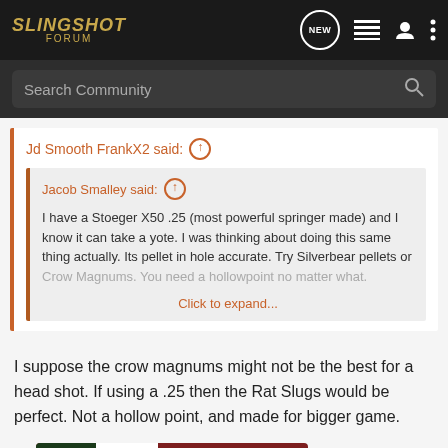SLINGSHOT FORUM
Search Community
Jd Smooth FrankX2 said: ↑
Jacob Smalley said: ↑
I have a Stoeger X50 .25 (most powerful springer made) and I know it can take a yote. I was thinking about doing this same thing actually. Its pellet in hole accurate. Try Silverbear pellets or Crow Magnums. You need a hollowpoint no matter what.
Click to expand...
I suppose the crow magnums might not be the best for a head shot. If using a .25 then the Rat Slugs would be perfect. Not a hollow point, and made for bigger game.
[Figure (infographic): Bass Pro Shops Bargain Cave Hunting Clearance advertisement banner with Shop Now button]